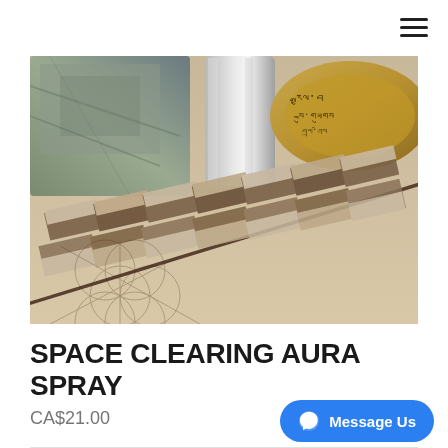[Figure (photo): Product photo showing a feather with brown and white patterns, a cylindrical silver spray bottle, a singing bowl or bronze vessel with Tibetan script, and a crystal or stone, arranged on a surface with geometric line patterns.]
SPACE CLEARING AURA SPRAY
CA$21.00
[Figure (other): Facebook Messenger 'Message Us' button in blue with messenger icon]